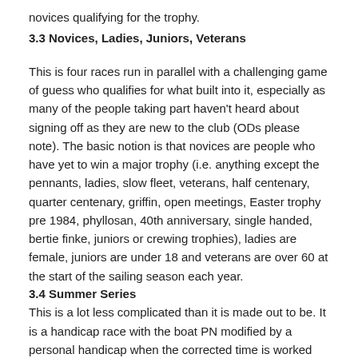novices qualifying for the trophy.
3.3 Novices, Ladies, Juniors, Veterans
This is four races run in parallel with a challenging game of guess who qualifies for what built into it, especially as many of the people taking part haven't heard about signing off as they are new to the club (ODs please note). The basic notion is that novices are people who have yet to win a major trophy (i.e. anything except the pennants, ladies, slow fleet, veterans, half centenary, quarter centenary, griffin, open meetings, Easter trophy pre 1984, phyllosan, 40th anniversary, single handed, bertie finke, juniors or crewing trophies), ladies are female, juniors are under 18 and veterans are over 60 at the start of the sailing season each year.
3.4 Summer Series
This is a lot less complicated than it is made out to be. It is a handicap race with the boat PN modified by a personal handicap when the corrected time is worked out. The personal handicap varies through the season, based on the table below, and is carried forward to the next season. If in doubt, leave it